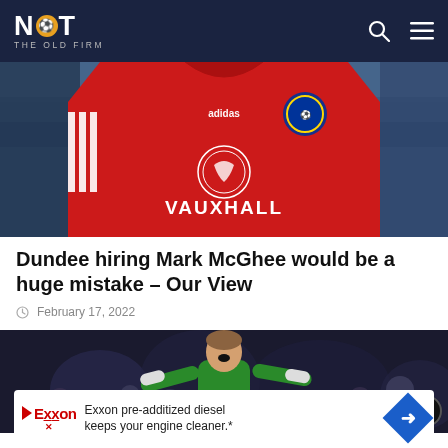NOT THE OLD FIRM
[Figure (photo): Person wearing red Scotland national football team training jacket with Adidas logo and Vauxhall sponsor, blurred stadium seating in background]
Dundee hiring Mark McGhee would be a huge mistake – Our View
February 17, 2022
[Figure (photo): Football player in green kit celebrating with mouth open, crowd in background, partially obscured by advertisement overlay]
Exxon pre-additized diesel keeps your engine cleaner.*